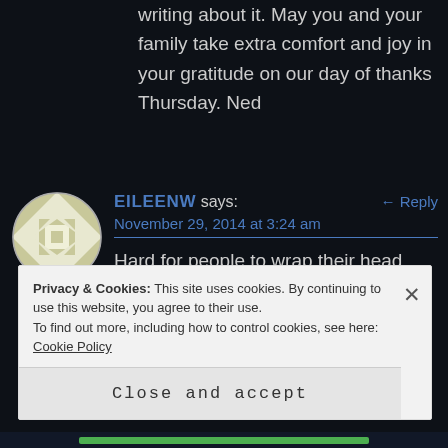writing about it. May you and your family take extra comfort and joy in your gratitude on our day of thanks Thursday. Ned
[Figure (illustration): Circular avatar with geometric quilt-like pattern in olive/cream colors]
EILEENW says:
November 29, 2014 at 3:24 am
Hard for people to wrap their head around a miracle. I am so grateful you had one. Sorry to hear about your black
Privacy & Cookies: This site uses cookies. By continuing to use this website, you agree to their use.
To find out more, including how to control cookies, see here: Cookie Policy
Close and accept